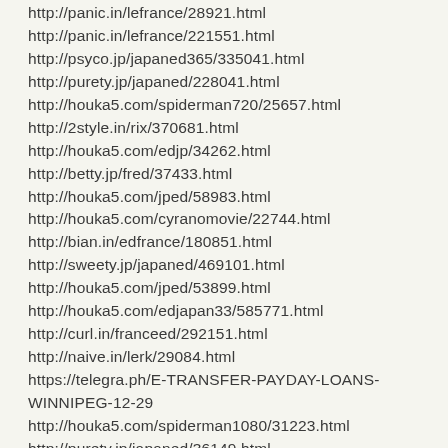http://panic.in/lefrance/28921.html
http://panic.in/lefrance/221551.html
http://psyco.jp/japaned365/335041.html
http://purety.jp/japaned/228041.html
http://houka5.com/spiderman720/25657.html
http://2style.in/rix/370681.html
http://houka5.com/edjp/34262.html
http://betty.jp/fred/37433.html
http://houka5.com/jped/58983.html
http://houka5.com/cyranomovie/22744.html
http://bian.in/edfrance/180851.html
http://sweety.jp/japaned/469101.html
http://houka5.com/jped/53899.html
http://houka5.com/edjapan33/585771.html
http://curl.in/franceed/292151.html
http://naive.in/lerk/29084.html
https://telegra.ph/E-TRANSFER-PAYDAY-LOANS-WINNIPEG-12-29
http://houka5.com/spiderman1080/31223.html
http://purety.jp/japaned/36149.html
http://houka5.com/spiderman247/32686.html